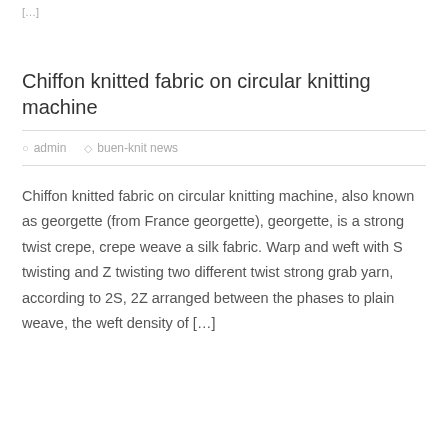[…]
Chiffon knitted fabric on circular knitting machine
admin   buen-knit news
Chiffon knitted fabric on circular knitting machine, also known as georgette (from France georgette), georgette, is a strong twist crepe, crepe weave a silk fabric. Warp and weft with S twisting and Z twisting two different twist strong grab yarn, according to 2S, 2Z arranged between the phases to plain weave, the weft density of […]